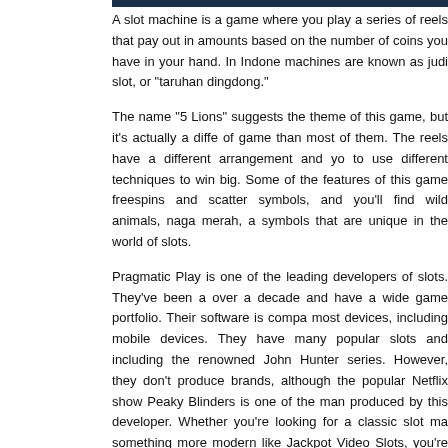A slot machine is a game where you play a series of reels that pay out in amounts based on the number of coins you have in your hand. In Indonesia, machines are known as judi slot, or "taruhan dingdong."
The name "5 Lions" suggests the theme of this game, but it's actually a different of game than most of them. The reels have a different arrangement and you to use different techniques to win big. Some of the features of this game freespins and scatter symbols, and you'll find wild animals, naga merah, a symbols that are unique in the world of slots.
Pragmatic Play is one of the leading developers of slots. They've been a over a decade and have a wide game portfolio. Their software is compa most devices, including mobile devices. They have many popular slots and including the renowned John Hunter series. However, they don't produce brands, although the popular Netflix show Peaky Blinders is one of the man produced by this developer. Whether you're looking for a classic slot ma something more modern like Jackpot Video Slots, you're bound to find a P Play slot that you'll love.
Another important slot game feature to consider is volatility. Volatility is the associated with the game and affects the overall enjoyment. While some sl erratic payouts, others feature smaller wins more often. High volatility slots played with a large bankroll because the chances of winning big are high want to enjoy playing slots online, you should check out some of the free sl available on the internet. They're a great way to get started and learn mo the game.